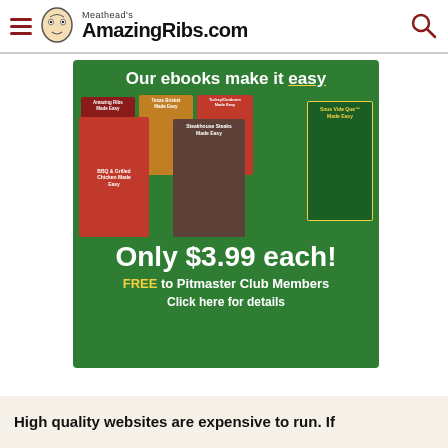Meathead's AmazingRibs.com
[Figure (infographic): Advertisement banner for AmazingRibs.com ebooks. Green background showing multiple ebook covers: Amazing Ribs Made Easy, BBQ & Grilled Chicken Made Easy, Texas Brisket Made Easy, Steakhouse Steaks Made Easy, Turkey/Outdoors Made Easy, Sous Vide Que Made Easy. Text: 'Our ebooks make it easy', 'Only $3.99 each!', 'FREE to Pitmaster Club Members', 'Click here for details']
High quality websites are expensive to run. If